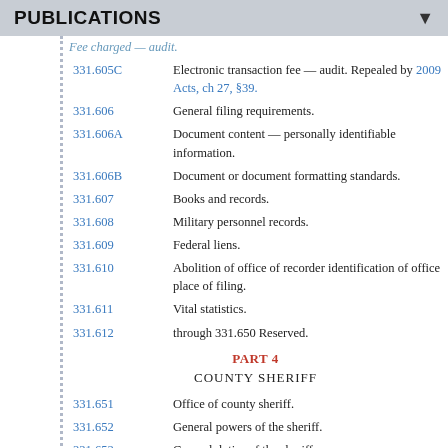PUBLICATIONS
331.605C — Electronic transaction fee — audit. Repealed by 2009 Acts, ch 27, §39.
331.606 — General filing requirements.
331.606A — Document content — personally identifiable information.
331.606B — Document or document formatting standards.
331.607 — Books and records.
331.608 — Military personnel records.
331.609 — Federal liens.
331.610 — Abolition of office of recorder identification of office place of filing.
331.611 — Vital statistics.
331.612 — through 331.650 Reserved.
PART 4
COUNTY SHERIFF
331.651 — Office of county sheriff.
331.652 — General powers of the sheriff.
331.653 — General duties of the sheriff.
331.654 — Faithful discharge of duties — penalty for disobedience.
331.655 — Fees — mileage — expenses.
331.656 — Management of condemnation funds.
331.657 — Standard uniforms.
331.658 — Care of prisoners.